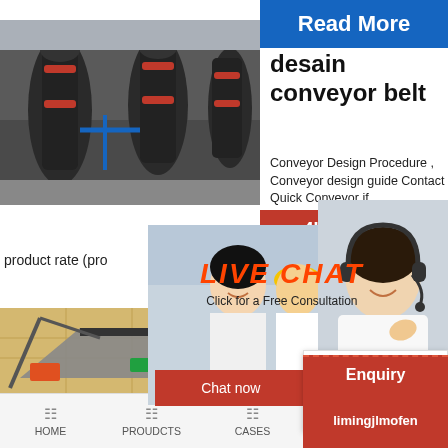[Figure (photo): Industrial milling/grinding machines in a factory hall]
[Figure (photo): Blue button labeled Read More]
desain conveyor belt
Conveyor Design Procedure , Conveyor design guide Contact Quick Conveyor if
product rate (pro
[Figure (photo): Workers in yellow hard hats smiling — Live Chat overlay panel with Chat now and Chat later buttons]
[Figure (photo): Woman with headset smiling — customer support representative]
24Hrs Online
LIVE CHAT
Click for a Free Consultation
Chat now
Chat later
[Figure (illustration): 3D isometric illustration of conveyor belt system at a mining/construction site]
conveyor belt simplify - forumeducatio
Finding the best
Need questions & suggestion?
Chat Now
Enquiry
limingjlmofen
HOME   PROUDCTS   CASES